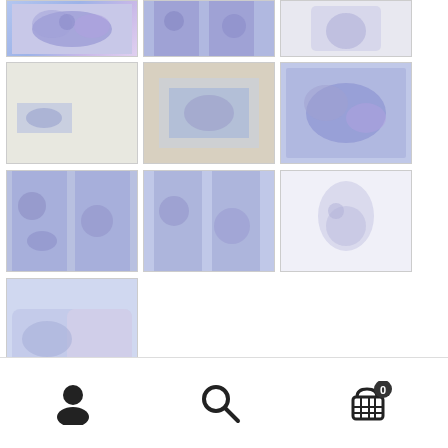[Figure (screenshot): Product grid showing blue floral pattern merchandise including art prints, wall art, curtains, tank tops, and pillows on a white e-commerce page, with bottom navigation bar showing profile, search, and cart icons]
Bottom navigation bar with user profile icon, search icon, and shopping cart icon with badge showing 0